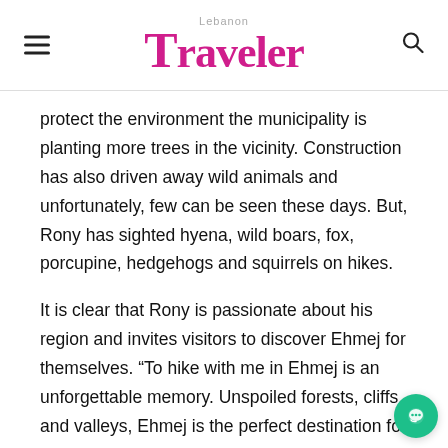Lebanon Traveler
protect the environment the municipality is planting more trees in the vicinity. Construction has also driven away wild animals and unfortunately, few can be seen these days. But, Rony has sighted hyena, wild boars, fox, porcupine, hedgehogs and squirrels on hikes.
It is clear that Rony is passionate about his region and invites visitors to discover Ehmej for themselves. “To hike with me in Ehmej is an unforgettable memory. Unspoiled forests, cliffs, and valleys, Ehmej is the perfect destination for your adventure travel all year round,” he says. “Stunning views and friendly villagers make Ehmej an ideal